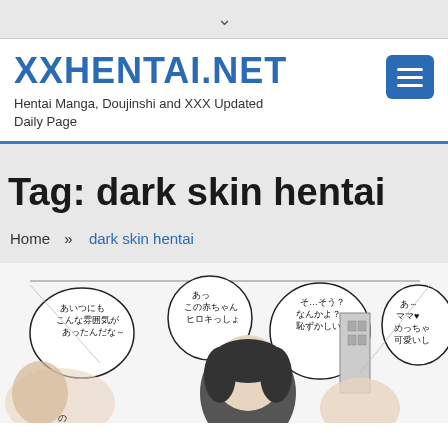▾
XXHENTAI.NET
Hentai Manga, Doujinshi and XXX Updated Daily Page
Tag: dark skin hentai
Home » dark skin hentai
[Figure (illustration): Black and white manga illustration showing anime characters with Japanese speech bubbles containing text]